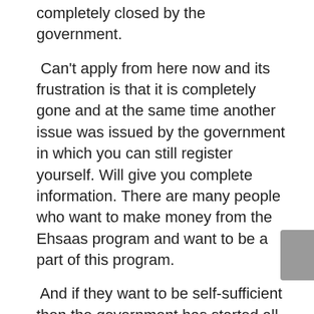completely closed by the government.
Can't apply from here now and its frustration is that it is completely gone and at the same time another issue was issued by the government in which you can still register yourself. Will give you complete information. There are many people who want to make money from the Ehsaas program and want to be a part of this program.
And if they want to be self-sufficient then the government has started all these programs. However, many people do not know what is the right way for you to be involved. So today we will give you health and provide information on what is the method of news that will make your